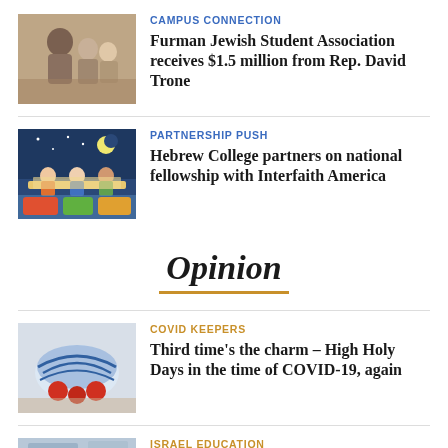[Figure (photo): Photo of people at an event, possibly a ceremony]
CAMPUS CONNECTION
Furman Jewish Student Association receives $1.5 million from Rep. David Trone
[Figure (illustration): Illustrated scene with figures at a table under a night sky with moon]
PARTNERSHIP PUSH
Hebrew College partners on national fellowship with Interfaith America
Opinion
[Figure (photo): Photo of a blue and white ceramic bowl with red objects]
COVID KEEPERS
Third time's the charm – High Holy Days in the time of COVID-19, again
[Figure (photo): Photo of people at an educational setting]
ISRAEL EDUCATION
A 'happily ever after' Is-real?